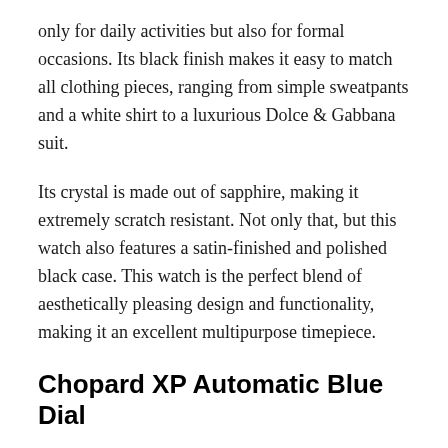only for daily activities but also for formal occasions. Its black finish makes it easy to match all clothing pieces, ranging from simple sweatpants and a white shirt to a luxurious Dolce & Gabbana suit.
Its crystal is made out of sapphire, making it extremely scratch resistant. Not only that, but this watch also features a satin-finished and polished black case. This watch is the perfect blend of aesthetically pleasing design and functionality, making it an excellent multipurpose timepiece.
Chopard XP Automatic Blue Dial
Unlike other watches on this list featuring neutral and